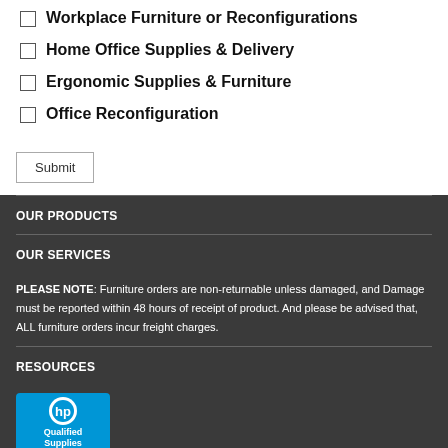Workplace Furniture or Reconfigurations
Home Office Supplies & Delivery
Ergonomic Supplies & Furniture
Office Reconfiguration
Submit
OUR PRODUCTS
OUR SERVICES
PLEASE NOTE: Furniture orders are non-returnable unless damaged, and Damage must be reported within 48 hours of receipt of product. And please be advised that, ALL furniture orders incur freight charges.
RESOURCES
[Figure (logo): HP Qualified Supplies logo badge in blue]